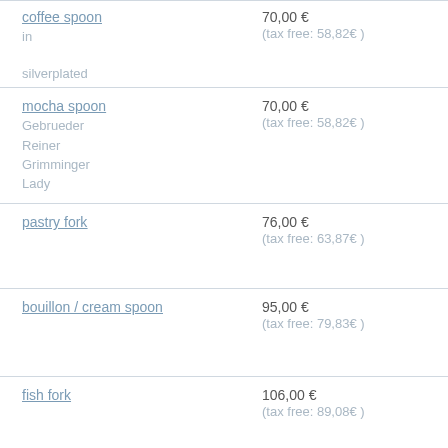| Product | Price |
| --- | --- |
| coffee spoon
in


silverplated | 70,00 €
(tax free: 58,82€ ) |
| mocha spoon
Gebrueder Reiner
Grimminger
Lady | 70,00 €
(tax free: 58,82€ ) |
| pastry fork | 76,00 €
(tax free: 63,87€ ) |
| bouillon / cream spoon | 95,00 €
(tax free: 79,83€ ) |
| fish fork | 106,00 €
(tax free: 89,08€ ) |